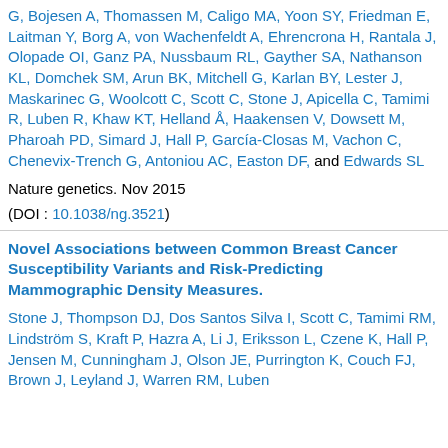G, Bojesen A, Thomassen M, Caligo MA, Yoon SY, Friedman E, Laitman Y, Borg A, von Wachenfeldt A, Ehrencrona H, Rantala J, Olopade OI, Ganz PA, Nussbaum RL, Gayther SA, Nathanson KL, Domchek SM, Arun BK, Mitchell G, Karlan BY, Lester J, Maskarinec G, Woolcott C, Scott C, Stone J, Apicella C, Tamimi R, Luben R, Khaw KT, Helland Å, Haakensen V, Dowsett M, Pharoah PD, Simard J, Hall P, García-Closas M, Vachon C, Chenevix-Trench G, Antoniou AC, Easton DF, and Edwards SL
Nature genetics. Nov 2015
(DOI : 10.1038/ng.3521)
Novel Associations between Common Breast Cancer Susceptibility Variants and Risk-Predicting Mammographic Density Measures.
Stone J, Thompson DJ, Dos Santos Silva I, Scott C, Tamimi RM, Lindström S, Kraft P, Hazra A, Li J, Eriksson L, Czene K, Hall P, Jensen M, Cunningham J, Olson JE, Purrington K, Couch FJ, Brown J, Leyland J, Warren RM, Luben